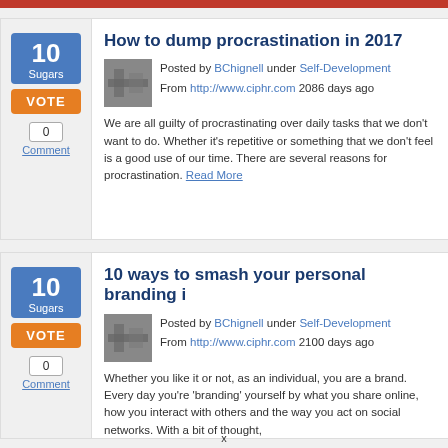How to dump procrastination in 2017
Posted by BChignell under Self-Development
From http://www.ciphr.com 2086 days ago
We are all guilty of procrastinating over daily tasks that we don't want to do. Whether it's repetitive or something that we don't feel is a good use of our time. There are several reasons for procrastination. Read More
10 ways to smash your personal branding i...
Posted by BChignell under Self-Development
From http://www.ciphr.com 2100 days ago
Whether you like it or not, as an individual, you are a brand. Every day you're 'branding' yourself by what you share online, how you interact with others and the way you act on social networks. With a bit of thought,